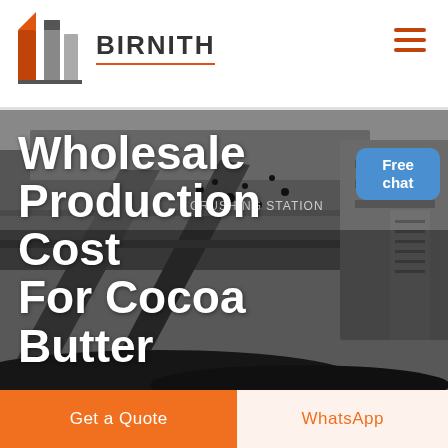BIRNITH
[Figure (screenshot): Industrial crushing station machinery with coal/aggregate conveyor belt, dark background. Hero banner image for Birnith website.]
Wholesale Production Cost For Cocoa Butter
Free chat
Get a Quote
WhatsApp